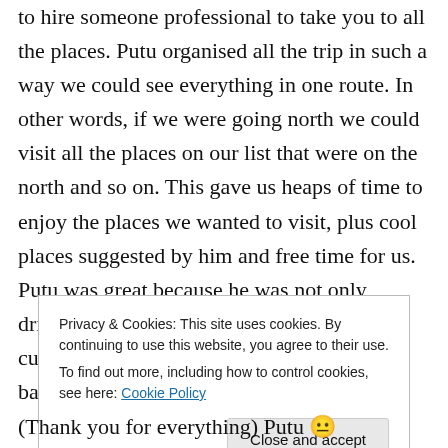to hire someone professional to take you to all the places. Putu organised all the trip in such a way we could see everything in one route. In other words, if we were going north we could visit all the places on our list that were on the north and so on. This gave us heaps of time to enjoy the places we wanted to visit, plus cool places suggested by him and free time for us. Putu was great because he was not only driving but also talking to us about balinese culture, interesting facts, funny stories and balinese
Privacy & Cookies: This site uses cookies. By continuing to use this website, you agree to their use.
To find out more, including how to control cookies, see here: Cookie Policy
(Thank you for everything) Putu 😐